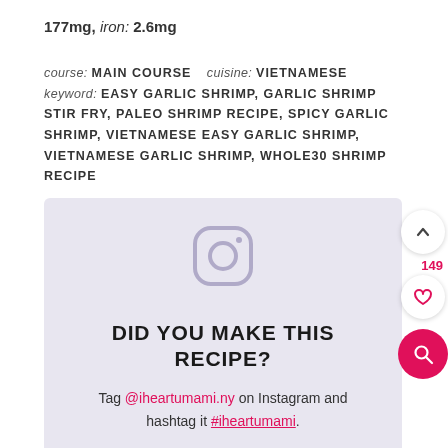177mg, iron: 2.6mg
course: MAIN COURSE   cuisine: VIETNAMESE
keyword: EASY GARLIC SHRIMP, GARLIC SHRIMP STIR FRY, PALEO SHRIMP RECIPE, SPICY GARLIC SHRIMP, VIETNAMESE EASY GARLIC SHRIMP, VIETNAMESE GARLIC SHRIMP, WHOLE30 SHRIMP RECIPE
[Figure (infographic): Instagram call-to-action box with Instagram camera icon, bold text 'DID YOU MAKE THIS RECIPE?', and text 'Tag @iheartumami.ny on Instagram and hashtag it #iheartumami.' on a lavender/light purple background.]